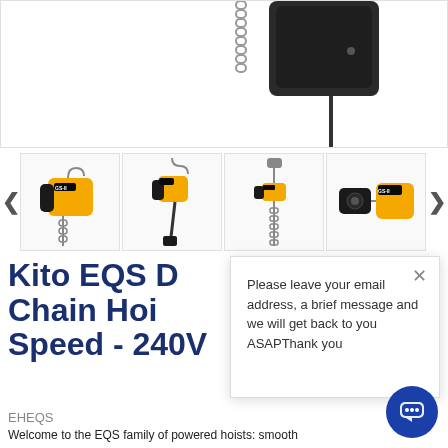[Figure (photo): Close-up product photo of Kito EQS electric chain hoist, showing chain and black body suspended from above, white background]
[Figure (photo): Four thumbnail images of Kito EQS electric chain hoist from different angles: front view with chain, hanging view, full body view, component view]
Kito EQS D... Chain Hoi... Speed - 240V
EHEQS
Welcome to the EQS family of powered hoists: smooth
Please leave your email address, a brief message and we will get back to you ASAPThank you